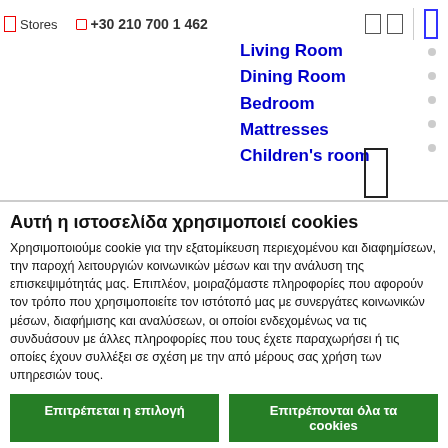Stores  +30 210 700 1 462
Living Room
Dining Room
Bedroom
Mattresses
Children's room
Αυτή η ιστοσελίδα χρησιμοποιεί cookies
Χρησιμοποιούμε cookie για την εξατομίκευση περιεχομένου και διαφημίσεων, την παροχή λειτουργιών κοινωνικών μέσων και την ανάλυση της επισκεψιμότητάς μας. Επιπλέον, μοιραζόμαστε πληροφορίες που αφορούν τον τρόπο που χρησιμοποιείτε τον ιστότοπό μας με συνεργάτες κοινωνικών μέσων, διαφήμισης και αναλύσεων, οι οποίοι ενδεχομένως να τις συνδυάσουν με άλλες πληροφορίες που τους έχετε παραχωρήσει ή τις οποίες έχουν συλλέξει σε σχέση με την από μέρους σας χρήση των υπηρεσιών τους.
Επιτρέπεται η επιλογή
Επιτρέπονται όλα τα cookies
Αναγκαία  Προτιμήσεις  Στατιστικά  Εμπορικής προώθησης  Προβολή λεπτομερειών